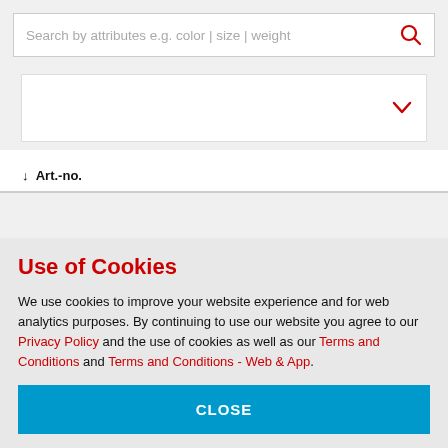Search by attributes e.g. color | size | weight
↓  Art.-no.
Use of Cookies
We use cookies to improve your website experience and for web analytics purposes. By continuing to use our website you agree to our Privacy Policy and the use of cookies as well as our Terms and Conditions and Terms and Conditions - Web & App.
CLOSE